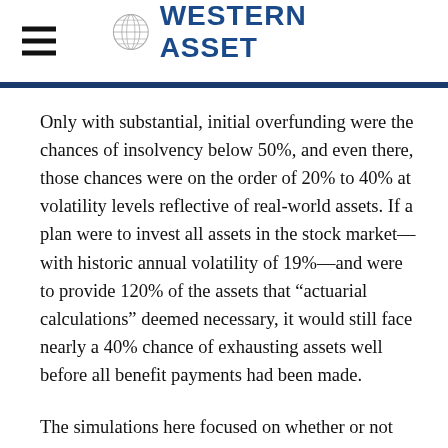Western Asset
Only with substantial, initial overfunding were the chances of insolvency below 50%, and even there, those chances were on the order of 20% to 40% at volatility levels reflective of real-world assets. If a plan were to invest all assets in the stock market—with historic annual volatility of 19%—and were to provide 120% of the assets that “actuarial calculations” deemed necessary, it would still face nearly a 40% chance of exhausting assets well before all benefit payments had been made.
The simulations here focused on whether or not plan assets became exhausted. They are not dependent upon any particular accounting of liability valuation or funded status. Yes, the way initial funding levels were chosen conforms with present public plan pension accounting